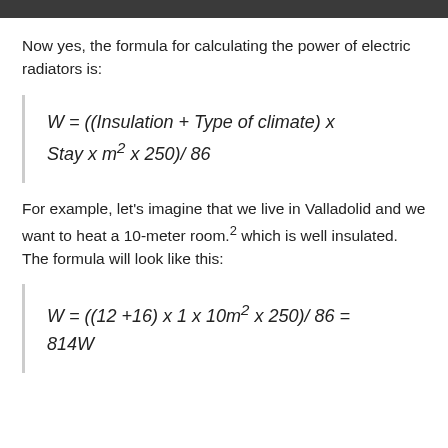Now yes, the formula for calculating the power of electric radiators is:
For example, let's imagine that we live in Valladolid and we want to heat a 10-meter room.² which is well insulated. The formula will look like this: